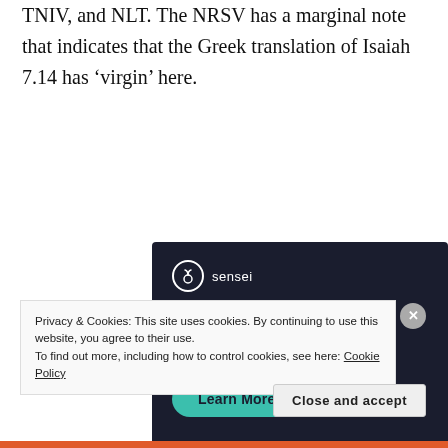TNIV, and NLT. The NRSV has a marginal note that indicates that the Greek translation of Isaiah 7.14 has ‘virgin’ here.
[Figure (screenshot): Sensei advertisement banner with dark navy background. Shows Sensei logo (tree icon in circle) with brand name, headline 'Launch your online course with WordPress' in teal, and a 'Learn More' teal rounded button.]
Privacy & Cookies: This site uses cookies. By continuing to use this website, you agree to their use.
To find out more, including how to control cookies, see here: Cookie Policy
Close and accept